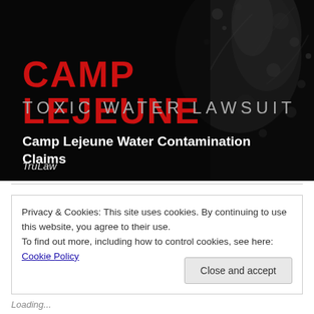[Figure (illustration): Dark background with water splash imagery. Large bold red text 'CAMP LEJEUNE' and grey text 'TOXIC WATER LAWSUIT' overlaid on the dark water image. White bold text 'Camp Lejeune Water Contamination Claims' and italic 'TruLaw' below.]
Privacy & Cookies: This site uses cookies. By continuing to use this website, you agree to their use.
To find out more, including how to control cookies, see here: Cookie Policy
Close and accept
Loading...